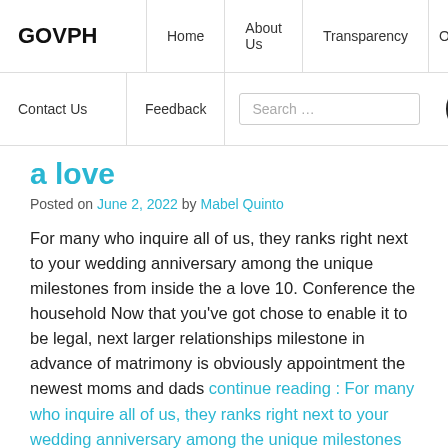GOVPH | Home | About Us | Transparency | O...
Contact Us | Feedback | Search... | [accessibility icon]
a love
Posted on June 2, 2022 by Mabel Quinto
For many who inquire all of us, they ranks right next to your wedding anniversary among the unique milestones from inside the a love 10. Conference the household Now that you've got chose to enable it to be legal, next larger relationships milestone in advance of matrimony is obviously appointment the newest moms and dads continue reading : For many who inquire all of us, they ranks right next to your wedding anniversary among the unique milestones from inside the a love